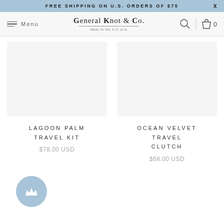FREE SHIPPING ON U.S. ORDERS OF $75 X
[Figure (screenshot): Navigation bar with hamburger menu, General Knot & Co. logo (Made In The U.S.A.), search icon, and cart icon with 0 items]
[Figure (photo): Lagoon Palm Travel Kit product image placeholder (blank/white area)]
LAGOON PALM TRAVEL KIT
$78.00 USD
[Figure (photo): Ocean Velvet Travel Clutch product image placeholder (blank/white area)]
OCEAN VELVET TRAVEL CLUTCH
$68.00 USD
[Figure (other): Blue circular button with white crown icon in bottom-left corner]